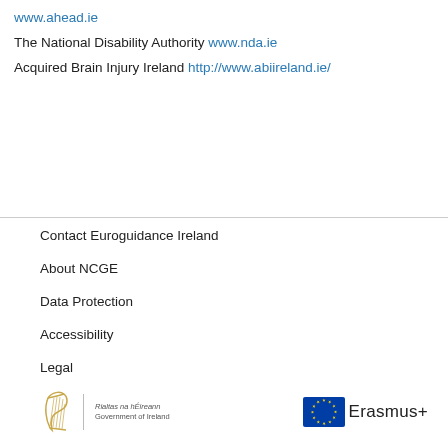www.ahead.ie
The National Disability Authority www.nda.ie
Acquired Brain Injury Ireland http://www.abiireland.ie/
Contact Euroguidance Ireland
About NCGE
Data Protection
Accessibility
Legal
[Figure (logo): Government of Ireland logo with harp and Irish/English text]
[Figure (logo): Erasmus+ logo with EU flag stars and Erasmus+ text]